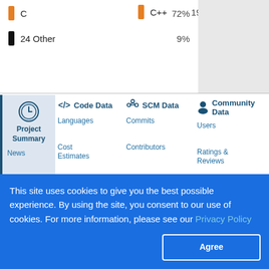C  72%
C++  19%
24 Other  9%
[Figure (screenshot): Navigation menu showing Project Summary, Code Data (Languages, Cost Estimates, Security), SCM Data (Commits, Contributors), Community Data (Users, Ratings & Reviews), News, Settings sub-links]
This site uses cookies to give you the best possible experience. By using the site, you consent to our use of cookies. For more information, please see our Privacy Policy
Agree